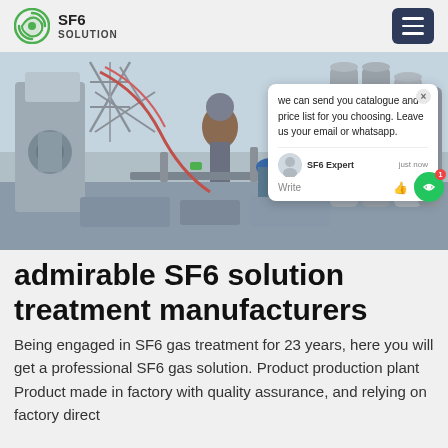SF6 SOLUTION
[Figure (photo): Industrial SF6 gas treatment equipment and cylinders at a facility, with workers visible. A chat popup overlay reads: 'we can send you catalogue and price list for you choosing. Leave us your email or whatsapp.' with agent 'SF6 Expert' shown as 'just now'.]
admirable SF6 solution treatment manufacturers
Being engaged in SF6 gas treatment for 23 years, here you will get a professional SF6 gas solution. Product production plant Product made in factory with quality assurance, and relying on factory direct